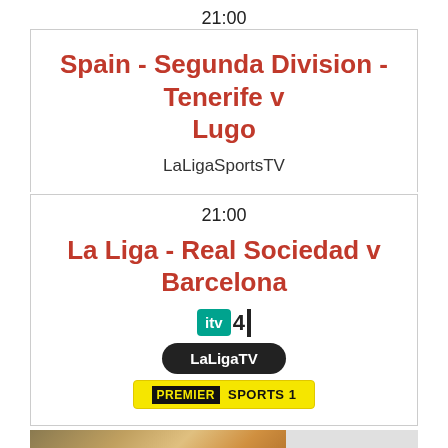21:00
Spain - Segunda Division - Tenerife v Lugo
LaLigaSportsTV
21:00
La Liga - Real Sociedad v Barcelona
[Figure (logo): ITV4 logo]
[Figure (logo): LaLigaTV button logo]
[Figure (logo): Premier Sports 1 logo]
[Figure (photo): Advertisement banner with airplane and cargo, text: WITHOUT REGARD TO POLITICS, RELIGION, OR ABILITY TO PAY]